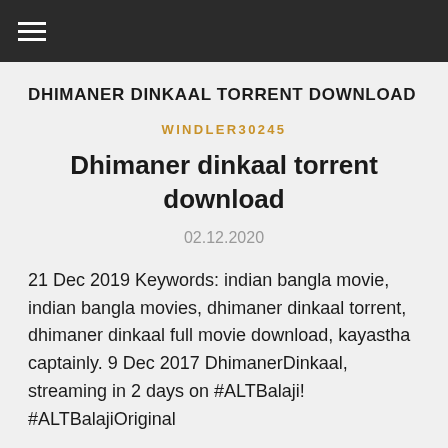≡
DHIMANER DINKAAL TORRENT DOWNLOAD
WINDLER30245
Dhimaner dinkaal torrent download
02.12.2020
21 Dec 2019 Keywords: indian bangla movie, indian bangla movies, dhimaner dinkaal torrent, dhimaner dinkaal full movie download, kayastha captainly. 9 Dec 2017 DhimanerDinkaal, streaming in 2 days on #ALTBalaji! #ALTBalajiOriginal